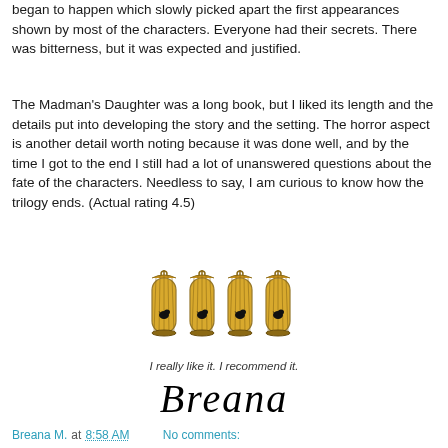began to happen which slowly picked apart the first appearances shown by most of the characters. Everyone had their secrets. There was bitterness, but it was expected and justified.
The Madman's Daughter was a long book, but I liked its length and the details put into developing the story and the setting. The horror aspect is another detail worth noting because it was done well, and by the time I got to the end I still had a lot of unanswered questions about the fate of the characters. Needless to say, I am curious to know how the trilogy ends. (Actual rating 4.5)
[Figure (illustration): Four golden birdcages with birds inside, hanging from hooks, arranged in a row]
I really like it. I recommend it.
[Figure (illustration): Cursive signature reading 'Breana']
Breana M. at 8:58 AM    No comments: